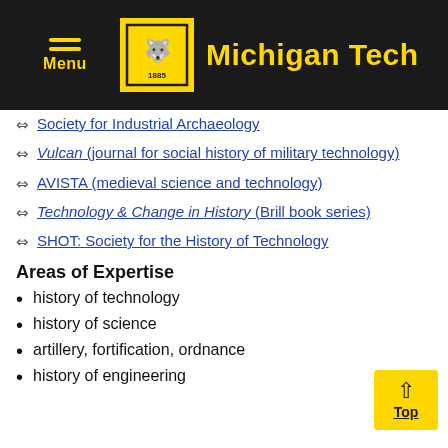Michigan Tech
Society for Industrial Archaeology
Vulcan (journal for social history of military technology)
AVISTA (medieval science and technology)
Technology & Change in History (Brill book series)
SHOT: Society for the History of Technology
Areas of Expertise
history of technology
history of science
artillery, fortification, ordnance
history of engineering